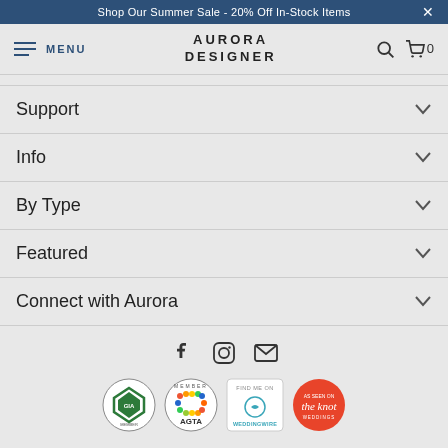Shop Our Summer Sale - 20% Off In-Stock Items
[Figure (screenshot): Aurora Designer navigation bar with menu, logo, search, and cart]
Support
Info
By Type
Featured
Connect with Aurora
[Figure (infographic): Social media icons: Facebook, Instagram, Email]
[Figure (logo): Four badge logos: GIA Member, AGTA Member, WeddingWire Find Me On, The Knot]